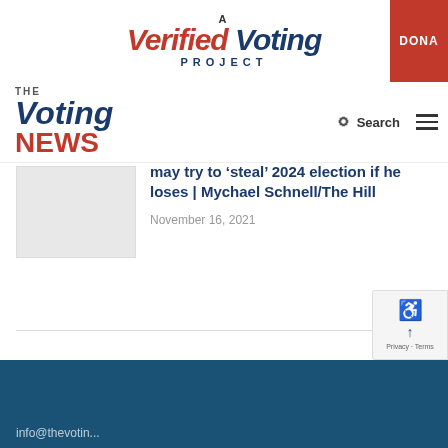[Figure (logo): A Verified Voting Project logo with red italic 'Verified' and dark blue italic 'Voting' text, with 'PROJECT' in dark blue small caps below]
[Figure (logo): Red DONATE button partially visible on top right corner]
[Figure (logo): The Voting News logo with dark blue italic 'Voting' and red 'NEWS' text]
Search
may try to ‘steal’ 2024 election if he loses | Mychael Schnell/The Hill
November 16, 2021
info@thevotin...